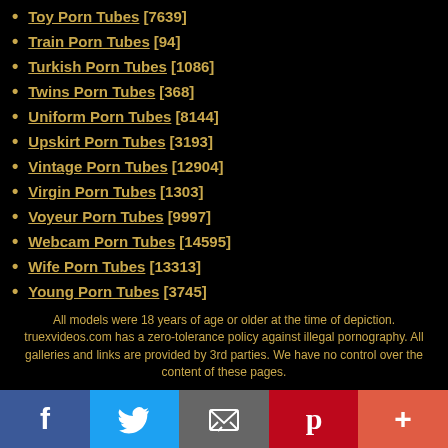Toy Porn Tubes [7639]
Train Porn Tubes [94]
Turkish Porn Tubes [1086]
Twins Porn Tubes [368]
Uniform Porn Tubes [8144]
Upskirt Porn Tubes [3193]
Vintage Porn Tubes [12904]
Virgin Porn Tubes [1303]
Voyeur Porn Tubes [9997]
Webcam Porn Tubes [14595]
Wife Porn Tubes [13313]
Young Porn Tubes [3745]
All models were 18 years of age or older at the time of depiction. truexvideos.com has a zero-tolerance policy against illegal pornography. All galleries and links are provided by 3rd parties. We have no control over the content of these pages.